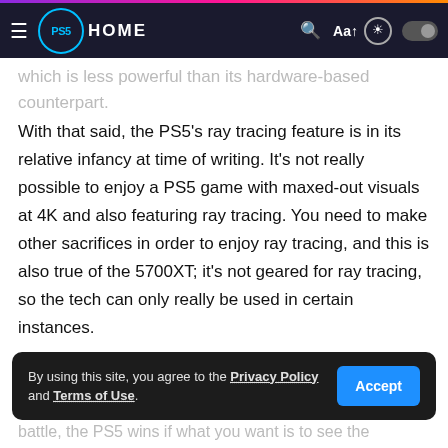PS5 HOME
which is less powerful than its hardware-based counterpart.
With that said, the PS5's ray tracing feature is in its relative infancy at time of writing. It's not really possible to enjoy a PS5 game with maxed-out visuals at 4K and also featuring ray tracing. You need to make other sacrifices in order to enjoy ray tracing, and this is also true of the 5700XT; it's not geared for ray tracing, so the tech can only really be used in certain instances.
By using this site, you agree to the Privacy Policy and Terms of Use.
battle, the PS5 wins if what you want is to see the